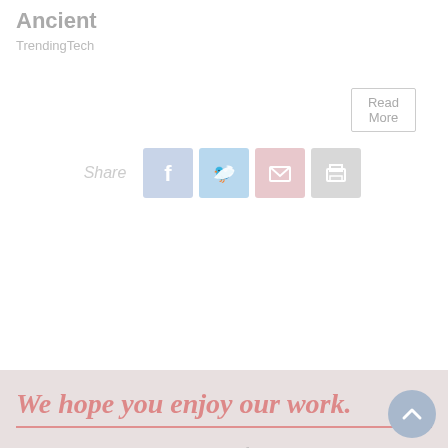Ancient
TrendingTech
Read More
Share
[Figure (infographic): Social share icons: Facebook, Twitter, Email, Print]
We hope you enjoy our work.
Please support this 70-year tradition of trusted historical writing and the volunteers that sustain it with a donation to American Heritage.
DONATE